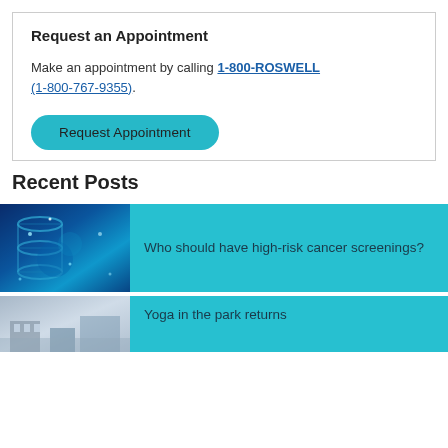Request an Appointment
Make an appointment by calling 1-800-ROSWELL (1-800-767-9355).
Request Appointment
Recent Posts
[Figure (photo): Close-up photo of DNA strands with blue lighting and microscopy imagery]
Who should have high-risk cancer screenings?
[Figure (photo): Outdoor building/park scene with people doing yoga]
Yoga in the park returns